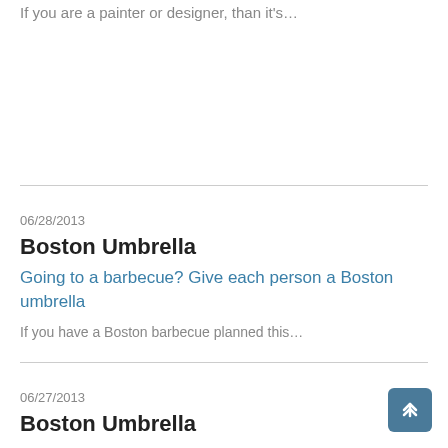If you are a painter or designer, than it's…
06/28/2013
Boston Umbrella
Going to a barbecue? Give each person a Boston umbrella
If you have a Boston barbecue planned this…
06/27/2013
Boston Umbrella
Going to a Summer parade? Bring along Boston umbrellas